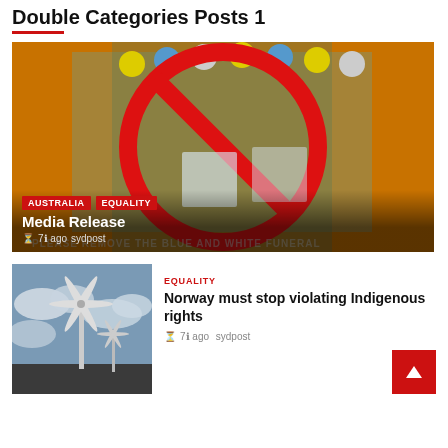Double Categories Posts 1
[Figure (photo): Featured article image: Street with colored decorative balls and a large red prohibition circle overlaid on orange background. Text at bottom reads PLEASE REMOVE THE BLUE AND WHITE FUNERAL]
AUSTRALIA  EQUALITY
Media Release
7ℹ ago  sydpost
[Figure (photo): Thumbnail photo of wind turbines against a cloudy sky]
EQUALITY
Norway must stop violating Indigenous rights
7ℹ ago  sydpost